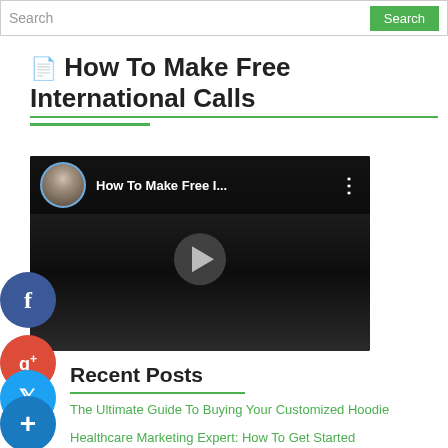Search | Search
How To Make Free International Calls
[Figure (screenshot): YouTube video thumbnail showing 'How To Make Free I...' with a male presenter avatar and play button over a dark video frame]
Recent Posts
The Ultimate Guide To Buying Your Customized Hoodie
Healthcare Marketing Expert: How To Get Started